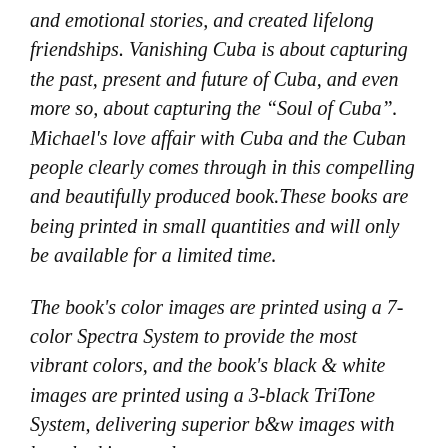and emotional stories, and created lifelong friendships. Vanishing Cuba is about capturing the past, present and future of Cuba, and even more so, about capturing the “Soul of Cuba". Michael's love affair with Cuba and the Cuban people clearly comes through in this compelling and beautifully produced book.These books are being printed in small quantities and will only be available for a limited time.
The book's color images are printed using a 7-color Spectra System to provide the most vibrant colors, and the book's black & white images are printed using a 3-black TriTone System, delivering superior b&w images with breathtaking results.